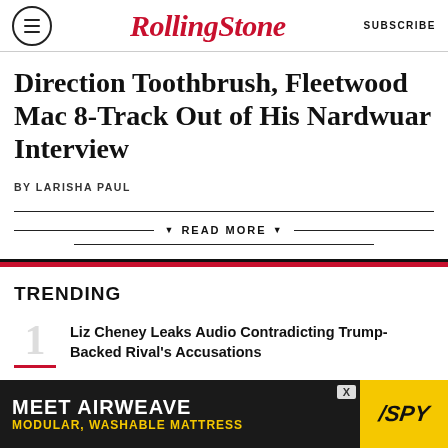RollingStone | SUBSCRIBE
Direction Toothbrush, Fleetwood Mac 8-Track Out of His Nardwuar Interview
BY LARISHA PAUL
▼ READ MORE ▼
TRENDING
1 Liz Cheney Leaks Audio Contradicting Trump-Backed Rival's Accusations
[Figure (other): Advertisement banner: MEET AIRWEAVE / MODULAR, WASHABLE MATTRESS with SPY logo]